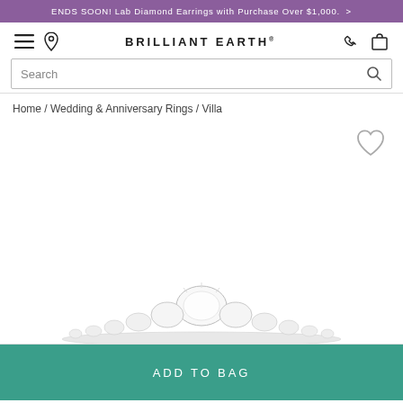ENDS SOON! Lab Diamond Earrings with Purchase Over $1,000.  >
[Figure (screenshot): Brilliant Earth website navigation bar with hamburger menu, location pin icon, BRILLIANT EARTH logo, phone icon, and shopping bag icon]
Search
Home / Wedding & Anniversary Rings / Villa
[Figure (photo): Product image of a diamond wedding ring (Villa) partially visible at bottom of view, showing sparkling diamonds]
ADD TO BAG